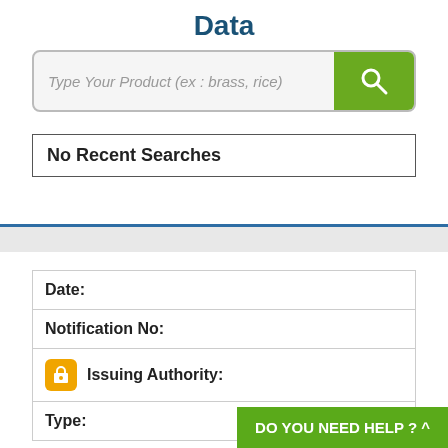Data
[Figure (screenshot): Search bar with placeholder text 'Type Your Product (ex : brass, rice)' and a green search button with magnifying glass icon]
No Recent Searches
| Date: |
| Notification No: |
| Issuing Authority: |
| Type: |
DO YOU NEED HELP ? ^